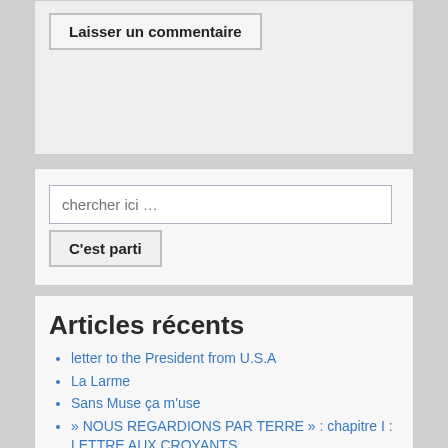Laisser un commentaire
[Figure (screenshot): Search input field with placeholder text 'chercher ici …' and a button labeled 'C'est parti']
Articles récents
letter to the President from U.S.A
La Larme
Sans Muse ça m'use
» NOUS REGARDIONS PAR TERRE  » : chapitre I : LETTRE AUX CROYANTS